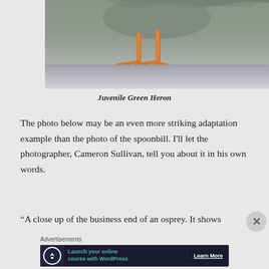[Figure (photo): Close-up photo of a Juvenile Green Heron's feet and legs gripping a metal ledge or rail, with blurred gray-green background.]
Juvenile Green Heron
The photo below may be an even more striking adaptation example than the photo of the spoonbill. I'll let the photographer, Cameron Sullivan, tell you about it in his own words.
“A close up of the business end of an osprey. It shows
[Figure (other): Advertisement banner: Launch your online course with WordPress — Learn More]